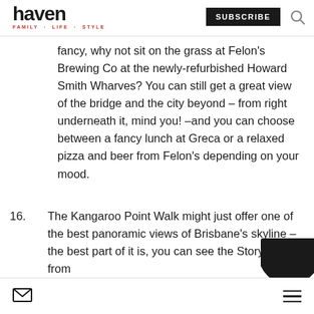haven FAMILY · LIFE · STYLE | SUBSCRIBE
fancy, why not sit on the grass at Felon's Brewing Co at the newly-refurbished Howard Smith Wharves? You can still get a great view of the bridge and the city beyond – from right underneath it, mind you! –and you can choose between a fancy lunch at Greca or a relaxed pizza and beer from Felon's depending on your mood.
16. The Kangaroo Point Walk might just offer one of the best panoramic views of Brisbane's skyline – the best part of it is, you can see the Story Bridge from
✉ ☰